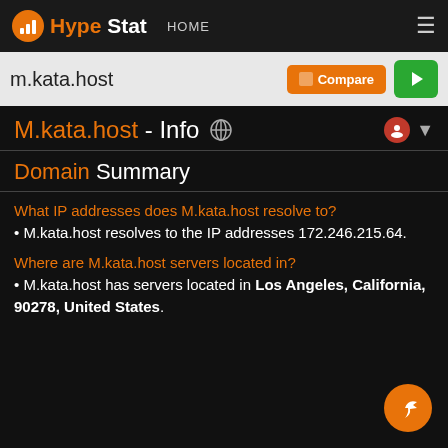HypeStat HOME
m.kata.host
M.kata.host - Info
Domain Summary
What IP addresses does M.kata.host resolve to?
• M.kata.host resolves to the IP addresses 172.246.215.64.
Where are M.kata.host servers located in?
• M.kata.host has servers located in Los Angeles, California, 90278, United States.